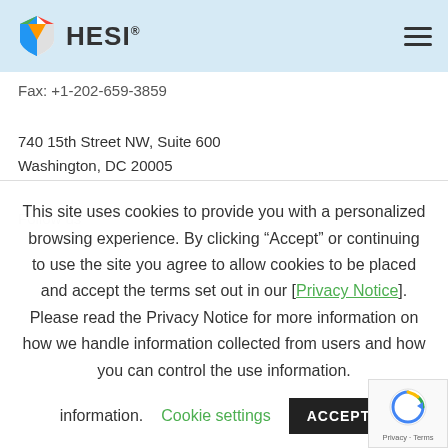HESI
Fax: +1-202-659-3859
740 15th Street NW, Suite 600
Washington, DC 20005
Follow us
This site uses cookies to provide you with a personalized browsing experience. By clicking “Accept” or continuing to use the site you agree to allow cookies to be placed and accept the terms set out in our [Privacy Notice]. Please read the Privacy Notice for more information on how we handle information collected from users and how you can control the use information.
Cookie settings
ACCEPT